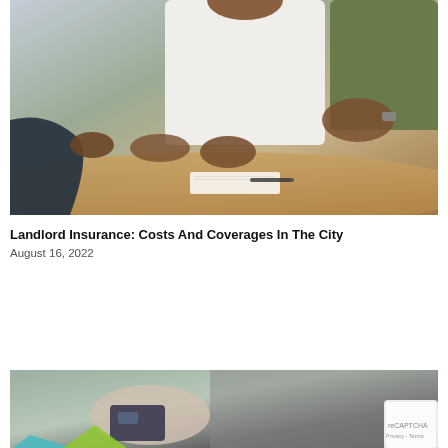[Figure (photo): Two people shaking hands across a table, with a third person visible. Papers and a pen on the table. Business/insurance meeting context.]
Landlord Insurance: Costs And Coverages In The City
August 16, 2022
[Figure (photo): Person holding what appears to be a credit card or key, wearing a grey shirt. Partial view of teal/green shapes in background.]